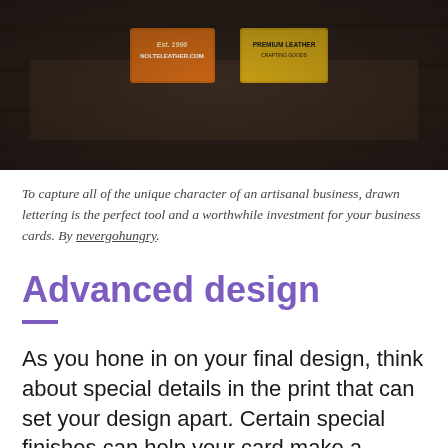[Figure (photo): Close-up photo of artisanal business cards on a dark wooden surface. Two cards are visible: one orange with 'Est. 1996 NOLTELEATHER.COM' and one yellow with 'PREMIUM LEATHER CRAFTING GOODS'.]
To capture all of the unique character of an artisanal business, drawn lettering is the perfect tool and a worthwhile investment for your business cards. By nevergohungry.
Advanced design
As you hone in on your final design, think about special details in the print that can set your design apart. Certain special finishes can help your card make a lasting impression on potential customers. Each one of these